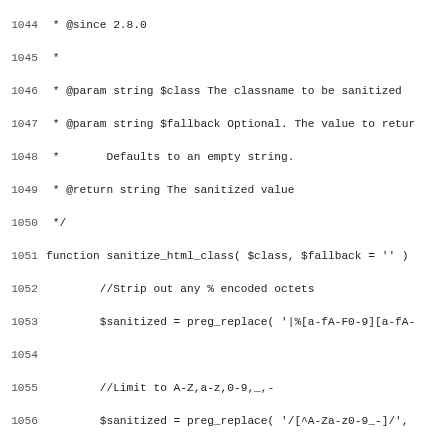Code listing lines 1044-1075: PHP source code for sanitize_html_class and related functions
1044  * @since 2.8.0
1045  *
1046  * @param string $class The classname to be sanitized
1047  * @param string $fallback Optional. The value to retur
1048  *       Defaults to an empty string.
1049  * @return string The sanitized value
1050  */
1051 function sanitize_html_class( $class, $fallback = '' )
1052          //Strip out any % encoded octets
1053          $sanitized = preg_replace( '|%[a-fA-F0-9][a-fA-
1054
1055          //Limit to A-Z,a-z,0-9,_,-
1056          $sanitized = preg_replace( '/[^A-Za-z0-9_-]/',
1057
1058          if ( '' == $sanitized )
1059                  $sanitized = $fallback;
1060
1061          return apply_filters( 'sanitize_html_class', $s
1062 }
1063
1064 /**
1065  * Converts a number of characters from a string.
1066  *
1067  * Metadata tags <<title>> and <<category>> are removed
1068  * converted into correct XHTML and Unicode characters
1069  * valid range.
1070  *
1071  * @since 0.71
1072  *
1073  * @param string $content String of characters to be co
1074  * @param string $deprecated Not used.
1075  * @return string Converted string.